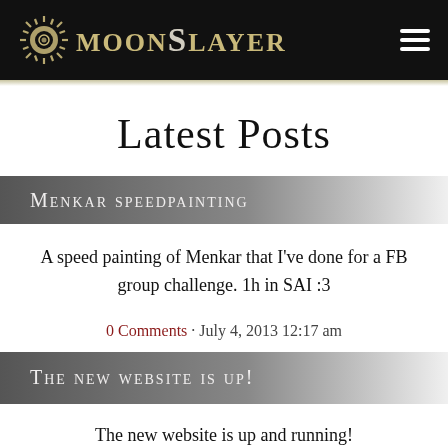MoonSlayer
Latest Posts
Menkar speedpainting
A speed painting of Menkar that I've done for a FB group challenge. 1h in SAI :3
0 Comments · July 4, 2013 12:17 am
The new website is up!
The new website is up and running!
We had problems with the previous comic manager. So the